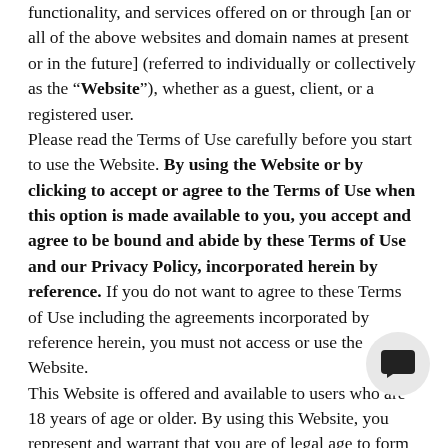functionality, and services offered on or through [an or all of the above websites and domain names at present or in the future] (referred to individually or collectively as the "Website"), whether as a guest, client, or a registered user. Please read the Terms of Use carefully before you start to use the Website. By using the Website or by clicking to accept or agree to the Terms of Use when this option is made available to you, you accept and agree to be bound and abide by these Terms of Use and our Privacy Policy, incorporated herein by reference. If you do not want to agree to these Terms of Use including the agreements incorporated by reference herein, you must not access or use the Website. This Website is offered and available to users who are 18 years of age or older. By using this Website, you represent and warrant that you are of legal age to form a binding contract with the Company and meet all of the foregoing eligibility requirements. If you do not meet all of these requirements, you must not access or use the Website. If you represent a company, organization, or a
[Figure (other): Chat bubble icon overlay in bottom-right area]